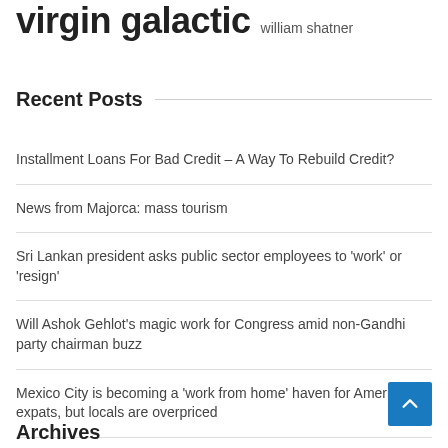virgin galactic william shatner
Recent Posts
Installment Loans For Bad Credit – A Way To Rebuild Credit?
News from Majorca: mass tourism
Sri Lankan president asks public sector employees to 'work' or 'resign'
Will Ashok Gehlot's magic work for Congress amid non-Gandhi party chairman buzz
Mexico City is becoming a 'work from home' haven for American expats, but locals are overpriced
Work continues during the interim | Community
Archives